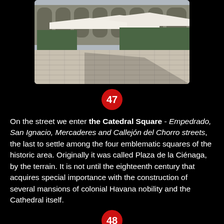[Figure (photo): Outdoor plaza scene with white canopy umbrellas over green chairs/tables, cobblestone ground, arched building colonnade in background, sunny day]
47
On the street we enter the Catedral Square - Empedrado, San Ignacio, Mercaderes and Callejón del Chorro streets, the last to settle among the four emblematic squares of the historic area. Originally it was called Plaza de la Ciénaga, by the terrain. It is not until the eighteenth century that acquires special importance with the construction of several mansions of colonial Havana nobility and the Cathedral itself.
48